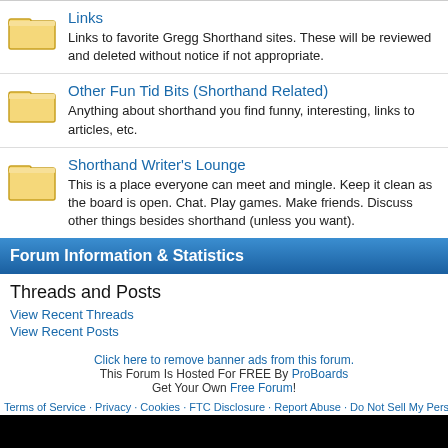Links — Links to favorite Gregg Shorthand sites. These will be reviewed and deleted without notice if not appropriate.
Other Fun Tid Bits (Shorthand Related) — Anything about shorthand you find funny, interesting, links to articles, etc.
Shorthand Writer's Lounge — This is a place everyone can meet and mingle. Keep it clean as the board is open. Chat. Play games. Make friends. Discuss other things besides shorthand (unless you want).
Forum Information & Statistics
Threads and Posts
View Recent Threads
View Recent Posts
Click here to remove banner ads from this forum.
This Forum Is Hosted For FREE By ProBoards
Get Your Own Free Forum!
Terms of Service · Privacy · Cookies · FTC Disclosure · Report Abuse · Do Not Sell My Personal